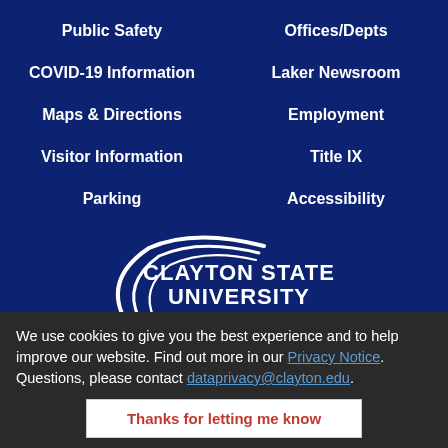Public Safety
COVID-19 Information
Maps & Directions
Visitor Information
Parking
Offices/Depts
Laker Newsroom
Employment
Title IX
Accessibility
[Figure (logo): Clayton State University logo with swoosh arcs and text]
2000 Clayton State Boulevard
We use cookies to give you the best experience and to help improve our website. Find out more in our Privacy Notice. Questions, please contact dataprivacy@clayton.edu.
Thanks for letting me know